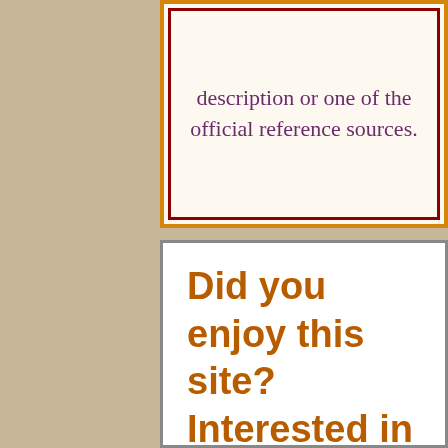description or one of the official reference sources.
Did you enjoy this site? Interested in amusing Scottish Country Dance related news, curios, giftware and useful information for dancers? Sign up for our